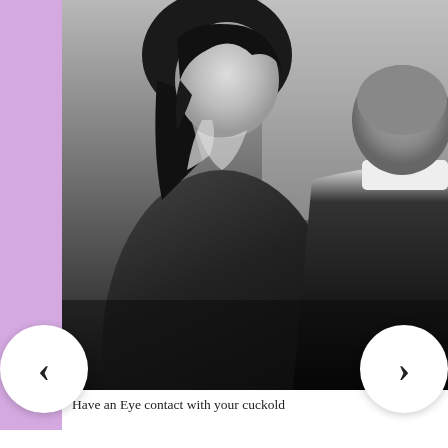[Figure (photo): Black and white photo of a woman in a blazer sitting across from a man whose back is turned toward the camera, appearing to be in an intimate conversation]
Have an Eye contact with your cuckold
Smile
Smiling is both a tease and a reassurance. It says both, "Look how much fun I'm having!" and "Everything is OK." I love to smile at him when I'm riding my lover cowgirl-style.
Kiss Him